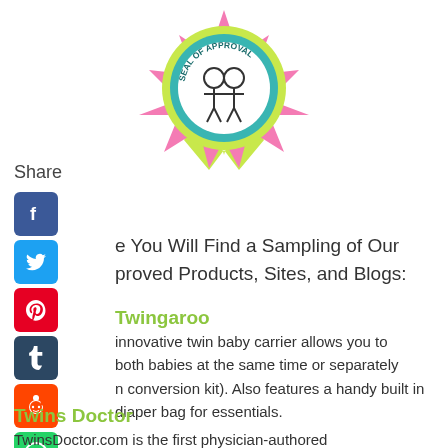[Figure (illustration): Seal of Approval badge — circular teal badge with 'SEAL OF APPROVAL' text, illustration of two babies, surrounded by pink and yellow-green decorative ribbon/star shape]
Share
[Figure (illustration): Social media share icons: Facebook (blue), Twitter (light blue), Pinterest (red), Tumblr (dark blue), Reddit (orange), WhatsApp (green)]
e You Will Find a Sampling of Our proved Products, Sites, and Blogs:
Twingaroo
innovative twin baby carrier allows you to both babies at the same time or separately n conversion kit). Also features a handy built in diaper bag for essentials.
Twins Doctor
TwinsDoctor.com is the first physician-authored